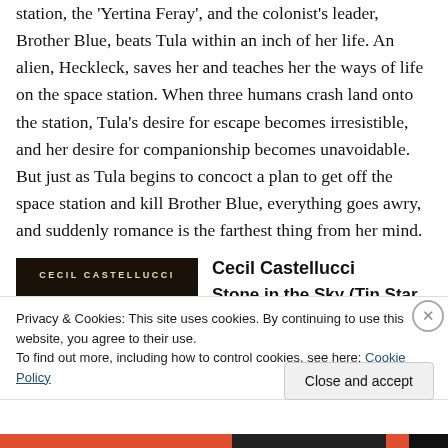station, the 'Yertina Feray', and the colonist's leader, Brother Blue, beats Tula within an inch of her life. An alien, Heckleck, saves her and teaches her the ways of life on the space station. When three humans crash land onto the station, Tula's desire for escape becomes irresistible, and her desire for companionship becomes unavoidable. But just as Tula begins to concoct a plan to get off the space station and kill Brother Blue, everything goes awry, and suddenly romance is the farthest thing from her mind.
[Figure (illustration): Book cover for Cecil Castellucci's book, dark background with author name at top in spaced caps, and a glowing spherical object]
Cecil Castellucci
Stone in the Sky (Tin Star,
Privacy & Cookies: This site uses cookies. By continuing to use this website, you agree to their use.
To find out more, including how to control cookies, see here: Cookie Policy
Close and accept